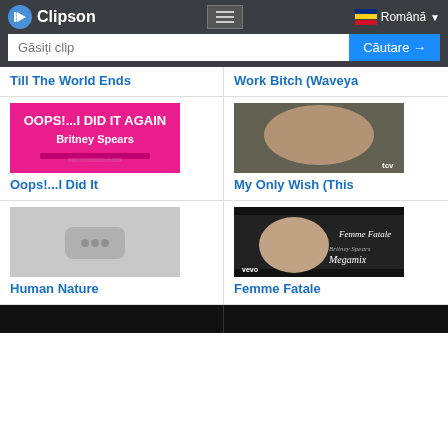Clipson — Găsiți clip — Căutare → — Română
Till The World Ends
Work Bitch (Waveya
[Figure (photo): Thumbnail for Oops!...I Did It Again by Britney Spears — pink background with song title and artist name]
Oops!...I Did It
[Figure (photo): Thumbnail for My Only Wish (This — shows woman lying down]
My Only Wish (This
[Figure (photo): Placeholder thumbnail for Human Nature — grey background with dots]
Human Nature
[Figure (photo): Thumbnail for Femme Fatale Megamix by Britney Spears — vevo thumbnail with album art]
Femme Fatale